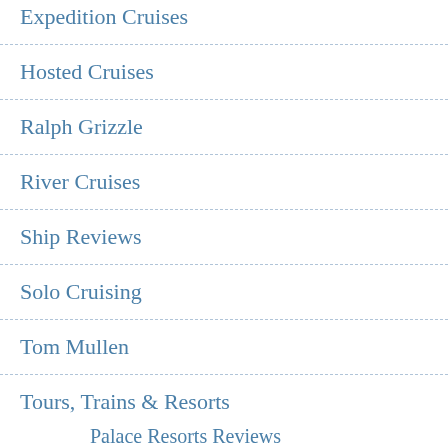Expedition Cruises
Hosted Cruises
Ralph Grizzle
River Cruises
Ship Reviews
Solo Cruising
Tom Mullen
Tours, Trains & Resorts
Palace Resorts Reviews
Safari Reviews
Shore Excursions